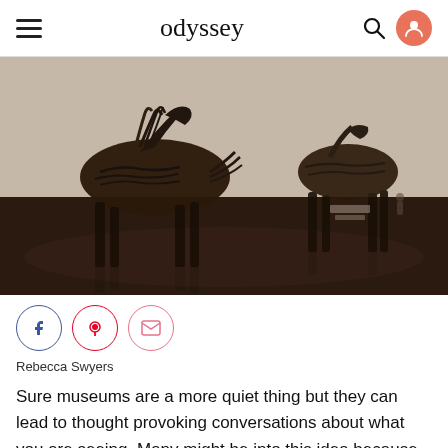odyssey
[Figure (photo): Two large horse sculptures made from twisted branches/driftwood displayed in a gallery with white walls and dark reflective floor. A small person is visible in the background for scale.]
Rebecca Swyers
Sure museums are a more quiet thing but they can lead to thought provoking conversations about what you are seeing. Many might be into this idea because there is less talking, who knows. Taking in the history and/or art